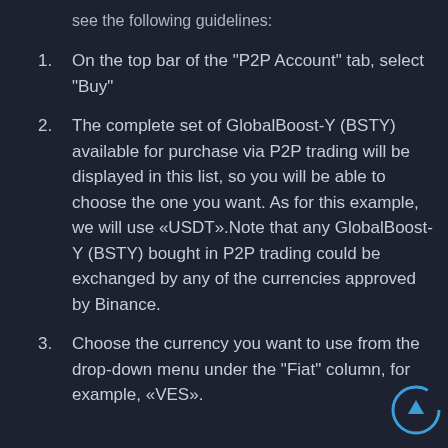see the following guidelines:
On the top bar of the "P2P Account" tab, select "Buy"
The complete set of GlobalBoost-Y (BSTY) available for purchase via P2P trading will be displayed in this list, so you will be able to choose the one you want. As for this example, we will use «USDT».Note that any GlobalBoost-Y (BSTY) bought in P2P trading could be exchanged by any of the currencies approved by Binance.
Choose the currency you want to use from the drop-down menu under the "Fiat" column, for example, «VES».